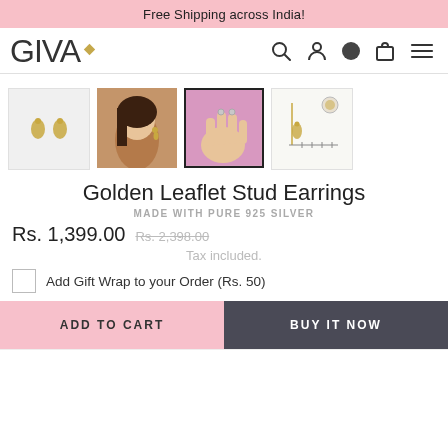Free Shipping across India!
[Figure (logo): GIVA logo with diamond icon]
[Figure (photo): Four product thumbnails: earrings on white background, woman wearing earrings, hand holding earrings on pink background, size chart diagram]
Golden Leaflet Stud Earrings
MADE WITH PURE 925 SILVER
Rs. 1,399.00  Rs. 2,398.00
Tax included.
Add Gift Wrap to your Order (Rs. 50)
ADD TO CART   BUY IT NOW